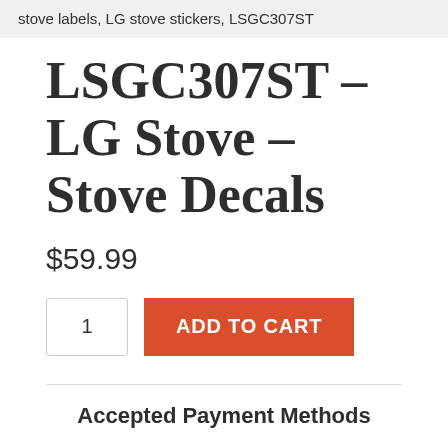stove labels, LG stove stickers, LSGC307ST
LSGC307ST – LG Stove – Stove Decals
$59.99
1  ADD TO CART
Accepted Payment Methods